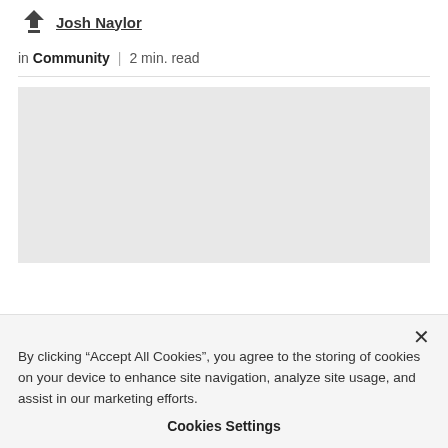[Figure (logo): Arrow/download icon logo next to author name]
in Community | 2 min. read
[Figure (other): Gray image placeholder rectangle]
By clicking “Accept All Cookies”, you agree to the storing of cookies on your device to enhance site navigation, analyze site usage, and assist in our marketing efforts.
Cookies Settings